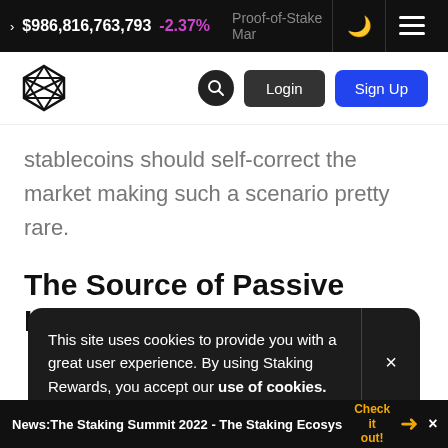$986,816,763,793  -2.37%  Proof-of-Stake Mar
[Figure (logo): Staking Rewards logo - geometric polygon shape]
stablecoins should self-correct the market making such a scenario pretty rare.
The Source of Passive Income
This site uses cookies to provide you with a great user experience. By using Staking Rewards, you accept our use of cookies.
Ethereum? Are there gonna be more “Yield-
News: The Staking Summit 2022 - The Staking Ecosys  Check it out!